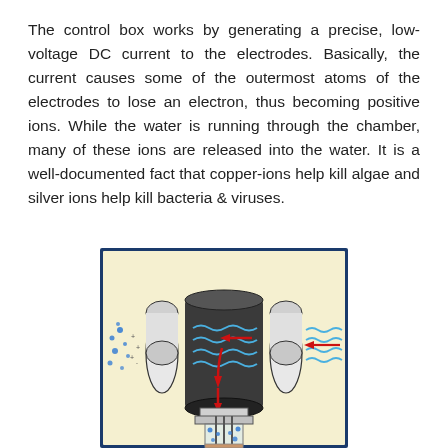The control box works by generating a precise, low-voltage DC current to the electrodes. Basically, the current causes some of the outermost atoms of the electrodes to lose an electron, thus becoming positive ions. While the water is running through the chamber, many of these ions are released into the water. It is a well-documented fact that copper-ions help kill algae and silver ions help kill bacteria & viruses.
[Figure (schematic): Cross-section diagram of an ionization chamber showing two cylindrical dark electrodes with blue wavy lines representing water flow, red arrows indicating flow direction downward and to the right (incoming flow), small blue dots representing ions dispersed from the chamber, and a lower collection section. The diagram has a cream/beige background with a dark blue border.]